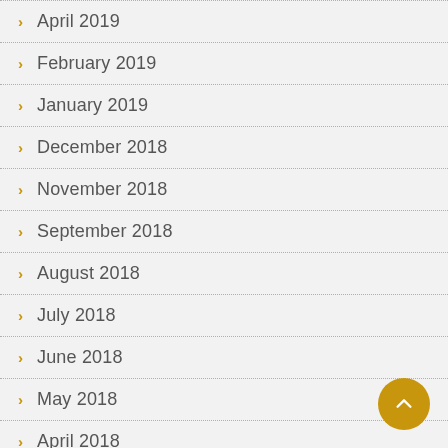April 2019
February 2019
January 2019
December 2018
November 2018
September 2018
August 2018
July 2018
June 2018
May 2018
April 2018
March 2018